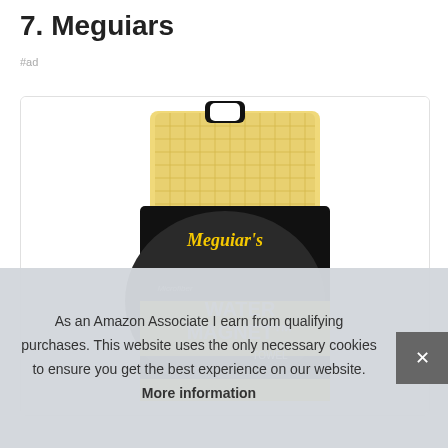7. Meguiars
#ad
[Figure (photo): Meguiar's Microfiber Water Magnet Drying Towel product in black and yellow packaging with a yellow microfiber towel displayed]
As an Amazon Associate I earn from qualifying purchases. This website uses the only necessary cookies to ensure you get the best experience on our website. More information